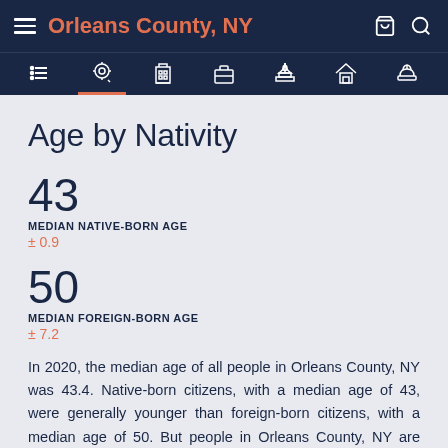Orleans County, NY
Age by Nativity
43
MEDIAN NATIVE-BORN AGE
± 0.9
50
MEDIAN FOREIGN-BORN AGE
± 7.2
In 2020, the median age of all people in Orleans County, NY was 43.4. Native-born citizens, with a median age of 43, were generally younger than foreign-born citizens, with a median age of 50. But people in Orleans County, NY are getting getting older. In 2019, the average age of all Orleans County,